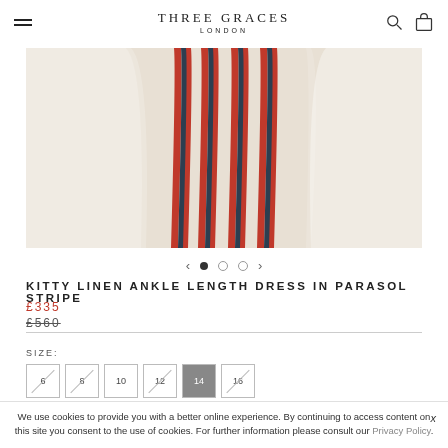THREE GRACES LONDON
[Figure (photo): Product photo of a striped linen dress (Kitty Linen Ankle Length Dress in Parasol Stripe) — cream/beige fabric with vertical red, navy, and gray stripes, shown hanging or draped.]
KITTY LINEN ANKLE LENGTH DRESS IN PARASOL STRIPE
£335
£560
SIZE:
6  8  10  12  14  16
QUANTITY:
We use cookies to provide you with a better online experience. By continuing to access content on this site you consent to the use of cookies. For further information please consult our Privacy Policy.